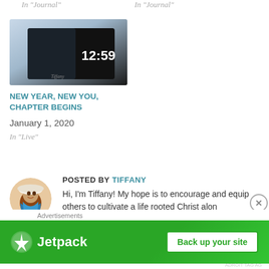In "Journal"
In "Journal"
[Figure (photo): Close-up of a smartphone screen displaying 12:59 in white text on a dark background, held at an angle.]
NEW YEAR, NEW YOU, CHAPTER BEGINS
January 1, 2020
In "Live"
[Figure (photo): Circular profile photo of a woman wearing a white hat, smiling.]
POSTED BY TIFFANY
Hi, I'm Tiffany! My hope is to encourage and equip others to cultivate a life rooted Christ alon…
Advertisements
[Figure (other): Jetpack advertisement banner with green background showing Jetpack logo and 'Back up your site' button.]